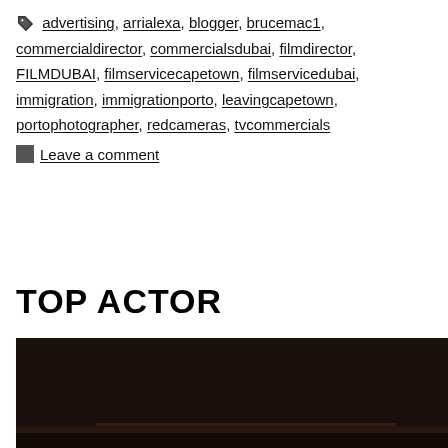advertising, arrialexa, blogger, brucemac1, commercialdirector, commercialsdubai, filmdirector, FILMDUBAI, filmservicecapetown, filmservicedubai, immigration, immigrationporto, leavingcapetown, portophotographer, redcameras, tvcommercials
Leave a comment
TOP ACTOR
[Figure (photo): Dark, dimly lit photo showing a dark background with a faint horizontal light streak near the bottom]